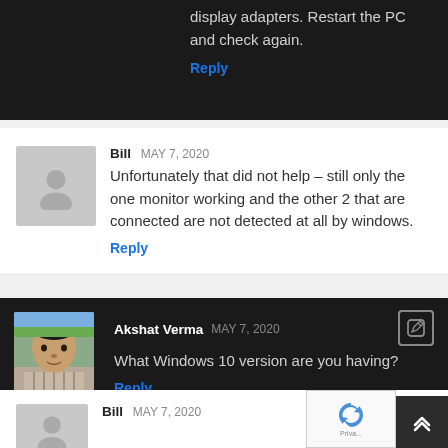display adapters. Restart the PC and check again.
Reply
Bill MAY 7, 2020
Unfortunately that did not help – still only the one monitor working and the other 2 that are connected are not detected at all by windows.
Reply
Akshat Verma MAY 7, 2020
What Windows 10 version are you having?
Reply
Bill MAY 7, 2020